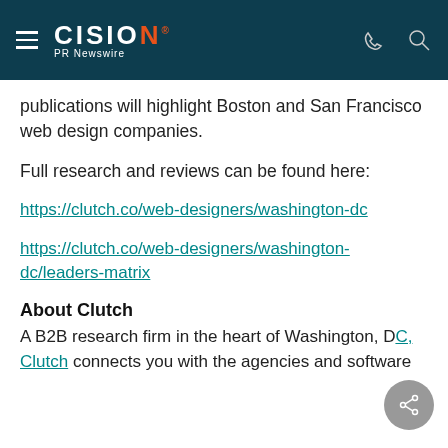CISION PR Newswire
publications will highlight Boston and San Francisco web design companies.
Full research and reviews can be found here:
https://clutch.co/web-designers/washington-dc
https://clutch.co/web-designers/washington-dc/leaders-matrix
About Clutch
A B2B research firm in the heart of Washington, D[C,] Clutch connects you with the agencies and software